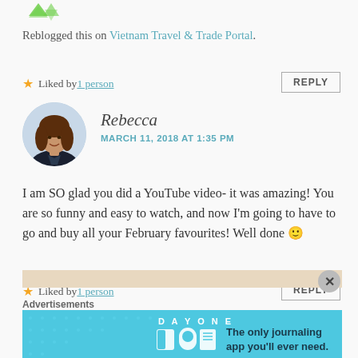[Figure (logo): Green arrow logo at top left]
Reblogged this on Vietnam Travel & Trade Portal.
★ Liked by 1 person
REPLY
[Figure (photo): Circular avatar photo of Rebecca, a woman with long brown hair smiling]
Rebecca
MARCH 11, 2018 AT 1:35 PM
I am SO glad you did a YouTube video- it was amazing! You are so funny and easy to watch, and now I'm going to have to go and buy all your February favourites! Well done 🙂
★ Liked by 1 person
REPLY
Advertisements
[Figure (screenshot): Day One journaling app advertisement banner — blue background with icons and text: The only journaling app you'll ever need.]